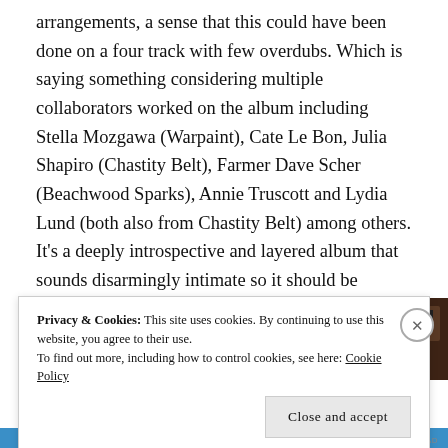arrangements, a sense that this could have been done on a four track with few overdubs. Which is saying something considering multiple collaborators worked on the album including Stella Mozgawa (Warpaint), Cate Le Bon, Julia Shapiro (Chastity Belt), Farmer Dave Scher (Beachwood Sparks), Annie Truscott and Lydia Lund (both also from Chastity Belt) among others. It's a deeply introspective and layered album that sounds disarmingly intimate so it should be interesting to see how it translates to a big stage.
[Figure (photo): Partial view of two images side by side — left appears to be a light-toned image with a circular shape, right is a dark photo.]
Privacy & Cookies: This site uses cookies. By continuing to use this website, you agree to their use. To find out more, including how to control cookies, see here: Cookie Policy
Close and accept